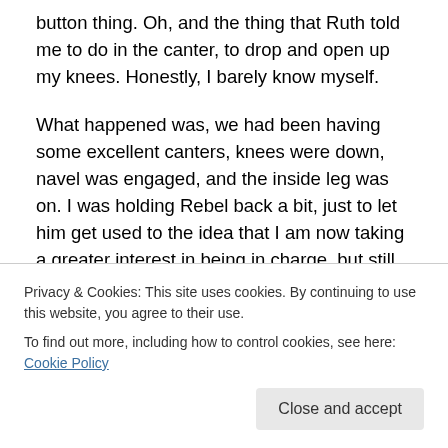button thing. Oh, and the thing that Ruth told me to do in the canter, to drop and open up my knees. Honestly, I barely know myself.
What happened was, we had been having some excellent canters, knees were down, navel was engaged, and the inside leg was on. I was holding Rebel back a bit, just to let him get used to the idea that I am now taking a greater interest in being in charge, but still, we were going great.
Until the last canter. We went into the twenty metre circle
Privacy & Cookies: This site uses cookies. By continuing to use this website, you agree to their use.
To find out more, including how to control cookies, see here: Cookie Policy